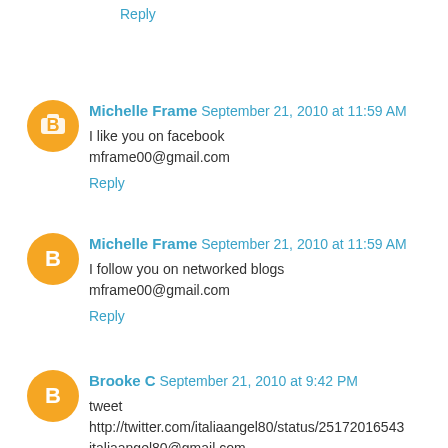Reply
Michelle Frame  September 21, 2010 at 11:59 AM
I like you on facebook
mframe00@gmail.com
Reply
Michelle Frame  September 21, 2010 at 11:59 AM
I follow you on networked blogs
mframe00@gmail.com
Reply
Brooke C  September 21, 2010 at 9:42 PM
tweet
http://twitter.com/italiaangel80/status/25172016543
italiaangel80@gmail.com